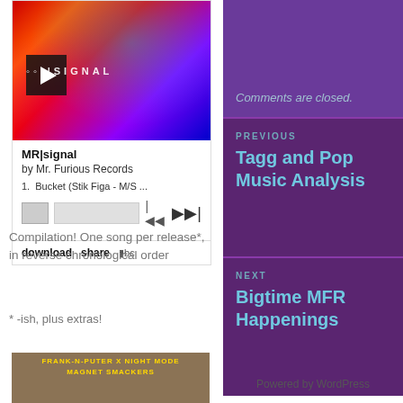[Figure (screenshot): Music player widget for MR|signal by Mr. Furious Records showing album art with play button, track listing, progress bar controls, and download/share options]
Compilation! One song per release*, in reverse chronological order
* -ish, plus extras!
[Figure (photo): Bottom image with text FRANK-N-PUTER X NIGHT MODE MAGNET SMACKERS on brownish background]
Comments are closed.
PREVIOUS
Tagg and Pop Music Analysis
NEXT
Bigtime MFR Happenings
Powered by WordPress